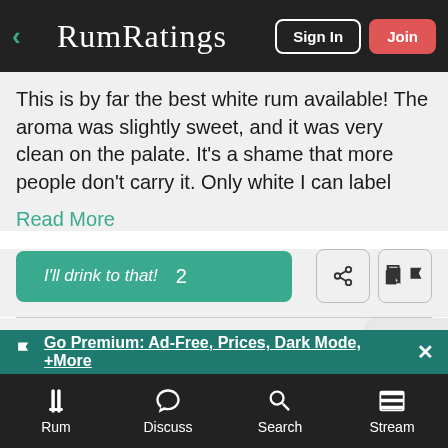RumRatings | Sign In | Join
This is by far the best white rum available! The aroma was slightly sweet, and it was very clean on the palate. It's a shame that more people don't carry it. Only white I can label
Read More
I'll drink to that!  2
The best white rum. Period.
james Ford 🏳 | 27 ratings
Go Premium: Ad-Free, Prices, Dark Mode, +More
Rum | Discuss | Search | Stream